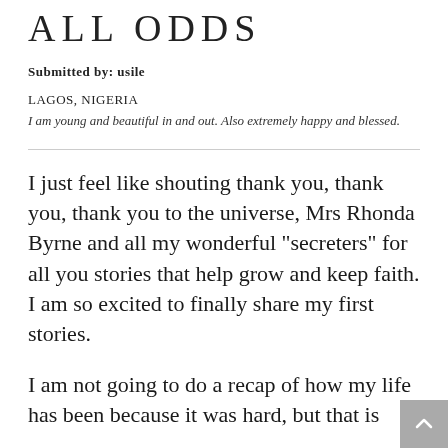ALL ODDS
Submitted by: usile
LAGOS, NIGERIA
I am young and beautiful in and out. Also extremely happy and blessed.
I just feel like shouting thank you, thank you, thank you to the universe, Mrs Rhonda Byrne and all my wonderful “secraters” for all you stories that help grow and keep faith. I am so excited to finally share my first stories.
I am not going to do a recap of how my life has been because it was hard, but that is